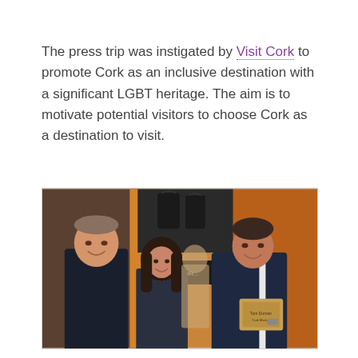The press trip was instigated by Visit Cork to promote Cork as an inclusive destination with a significant LGBT heritage. The aim is to motivate potential visitors to choose Cork as a destination to visit.
[Figure (photo): Three people posing indoors at what appears to be a market or food stall. On the left is a tall man in a dark jacket, in the middle is a young woman with dark hair, and on the right is a man in a The North Face jacket holding a package. Behind them are Tom Durcan branded bags and signage.]